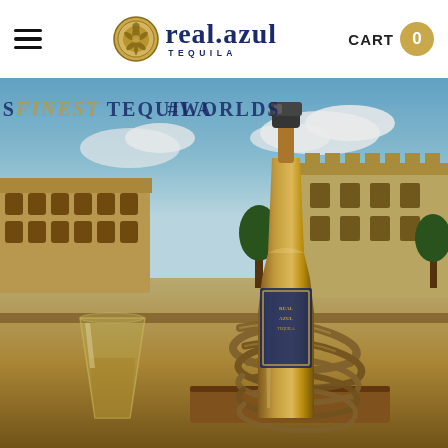real.azul TEQUILA — CART 0
[Figure (photo): Hero image of Real Azul Tequila bottle with rope wrapping around the neck and cap, placed on a surface with a glass of tequila beside it, and blurred historic European-style buildings in the background under a blue sky. Text overlay reads #WORLDSFINEST TEQUILA.]